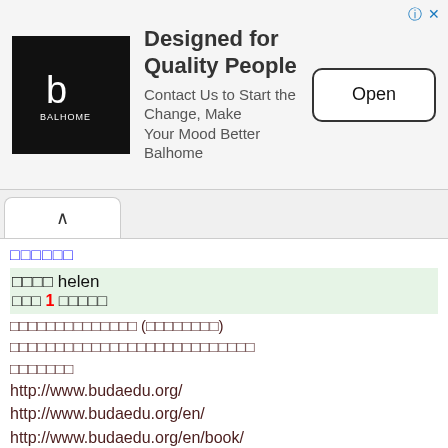[Figure (screenshot): Advertisement banner for Balhome: logo on left (white B symbol on black), headline 'Designed for Quality People', subtext 'Contact Us to Start the Change, Make Your Mood Better Balhome', Open button on right. Info and X icons top right.]
[Figure (screenshot): Browser tab bar with one open tab showing an up-arrow (collapse) button.]
□□□□□□
□□□□ helen
□□□ 1 □□□□□
□□□□□□□□□□□□□□ (□□□□□□□□)
□□□□□□□□□□□□□□□□□□□□□□□□□□□
□□□□□□□
http://www.budaedu.org/
http://www.budaedu.org/en/
http://www.budaedu.org/en/book/
Online application --- Small Quantity
http://www.budaedu.org/books/apply-en/
Online application ---Large Quantity
http://www.budaedu.org/en/download/LargeQuantity.doc